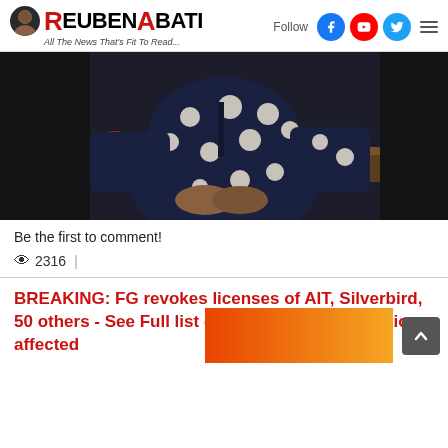ReubenAbati - All The News That's Fit To Read...
[Figure (photo): A person wearing a dark navy blue polka dot shirt seated at what appears to be a restaurant or bar, hands clasped, with food and drinks visible on the counter.]
Be the first to comment!
👁 2316 |
BREAKING: FG revokes licenses of AIT, Silverbird, 50 others - See Full list of Television/Radio stations affected
[Figure (photo): Partial image showing an orange/red gradient background at the bottom of the page.]